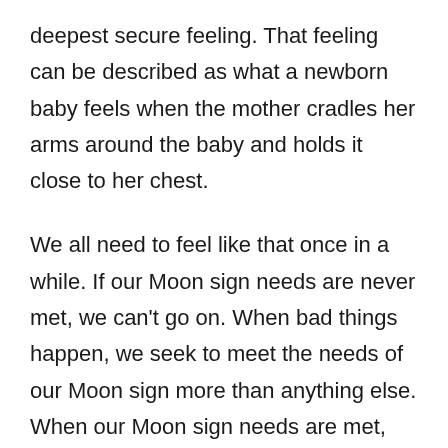deepest secure feeling. That feeling can be described as what a newborn baby feels when the mother cradles her arms around the baby and holds it close to her chest.
We all need to feel like that once in a while. If our Moon sign needs are never met, we can't go on. When bad things happen, we seek to meet the needs of our Moon sign more than anything else. When our Moon sign needs are met, we feel secure. That secure feeling comes from different things for each of you, depending on your Moon sign.
Go to top ↑